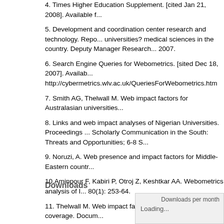4. Times Higher Education Supplement. [cited Jan 21, 2008]. Available f...
5. Development and coordination center research and technology. Repo... universities? medical sciences in the country. Deputy Manager Research... 2007.
6. Search Engine Queries for Webometrics. [sited Dec 18, 2007]. Availab... http://cybermetrics.wlv.ac.uk/QueriesForWebometrics.htm
7. Smith AG, Thelwall M. Web impact factors for Australasian universities...
8. Links and web impact analyses of Nigerian Universities. Proceedings ... Scholarly Communication in the South: Threats and Opportunities; 6-8 S...
9. Noruzi, A. Web presence and impact factors for Middle-Eastern countr...
10.Aminpour F, Kabiri P, Otroj Z, Keshtkar AA. Webometrics analysis of I... 80(1): 253-64.
11. Thelwall M. Web impact factors and search engine coverage. Docum...
12. Ranking web of world universities. [cited Dec 18, 2007]. Available fro... ranking-of-world-universities. 2007.
Downloads
[Figure (other): Downloads per month chart area showing 'Loading...' placeholder]